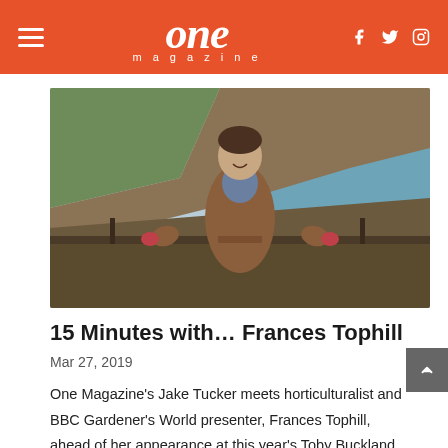one magazine
[Figure (photo): Woman in a brown coat with pink gloves standing at a railing overlooking a coastal landscape with cliffs and sea in the background. She is smiling with arms spread wide.]
15 Minutes with… Frances Tophill
Mar 27, 2019
One Magazine's Jake Tucker meets horticulturalist and BBC Gardener's World presenter, Frances Tophill, ahead of her appearance at this year's Toby Buckland